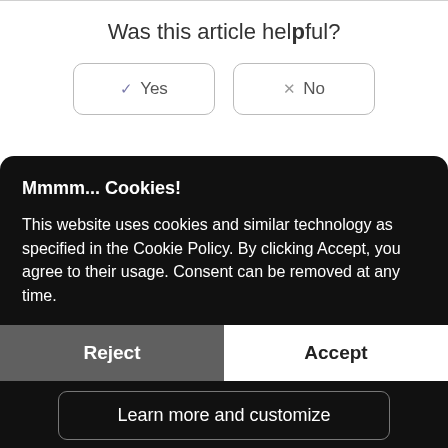Was this article helpful?
[Figure (screenshot): Two buttons: a checkmark 'Yes' button and an X 'No' button for voting on article helpfulness]
Mmmm... Cookies!
This website uses cookies and similar technology as specified in the Cookie Policy. By clicking Accept, you agree to their usage. Consent can be removed at any time.
[Figure (screenshot): Cookie consent banner with Reject, Accept, and Learn more and customize buttons]